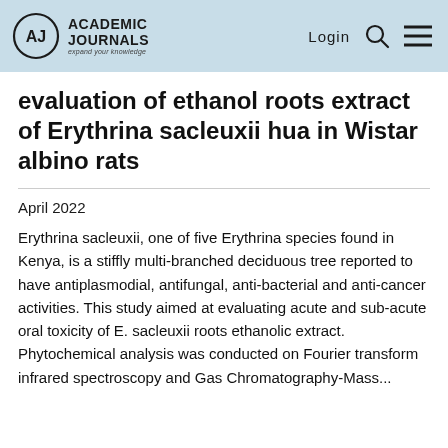Academic Journals — Login
evaluation of ethanol roots extract of Erythrina sacleuxii hua in Wistar albino rats
April 2022
Erythrina sacleuxii, one of five Erythrina species found in Kenya, is a stiffly multi-branched deciduous tree reported to have antiplasmodial, antifungal, anti-bacterial and anti-cancer activities. This study aimed at evaluating acute and sub-acute oral toxicity of E. sacleuxii roots ethanolic extract. Phytochemical analysis was conducted on Fourier transform infrared spectroscopy and Gas Chromatography-Mass...